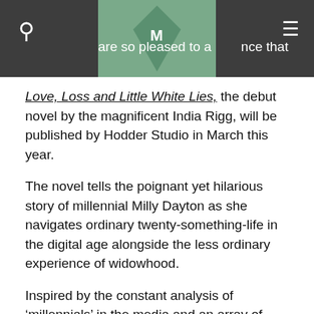are so pleased to announce that
Love, Loss and Little White Lies, the debut novel by the magnificent India Rigg, will be published by Hodder Studio in March this year.

The novel tells the poignant yet hilarious story of millennial Milly Dayton as she navigates ordinary twenty-something-life in the digital age alongside the less ordinary experience of widowhood.

Inspired by the constant analysis of ‘millennials’ in the media and an array of personal, comical experiences, India Rigg has written a captivating novel that is guaranteed to steal your heart. Perfect for fans of Holly Bourne, Lucy Vine and Lucy Diamond, we’re sure it will be the first of many wonderful novels by this talented new voice in women’s fiction! Here’s a little preview of what’s